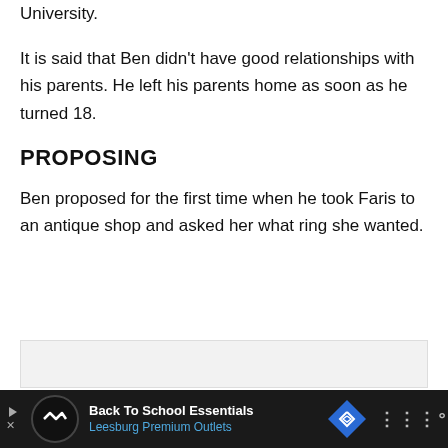University.
It is said that Ben didn’t have good relationships with his parents. He left his parents home as soon as he turned 18.
PROPOSING
Ben proposed for the first time when he took Faris to an antique shop and asked her what ring she wanted.
[Figure (other): Gray box placeholder/advertisement area]
Back To School Essentials Leesburg Premium Outlets